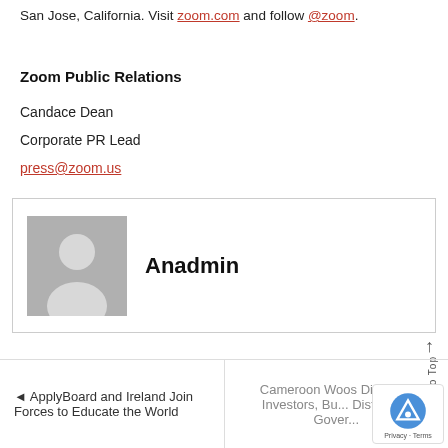San Jose, California. Visit zoom.com and follow @zoom.
Zoom Public Relations
Candace Dean
Corporate PR Lead
press@zoom.us
[Figure (other): Author card with generic avatar silhouette and name 'Anadmin']
ApplyBoard and Ireland Join Forces to Educate the World
Cameroon Woos Diaspora Investors, But Distrust of Gover...